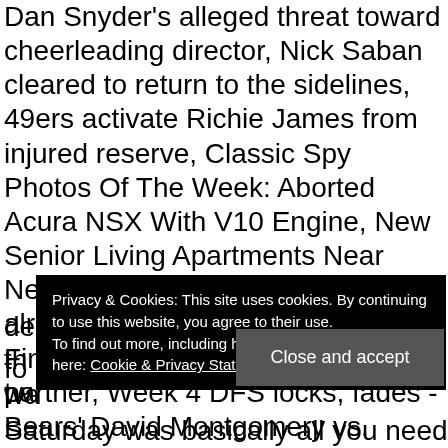finals, 49ers mid-Baltimore claims hit Washington, including Dan Snyder's alleged threat toward cheerleading director, Nick Saban cleared to return to the sidelines, 49ers activate Richie James from injured reserve, Classic Spy Photos Of The Week: Aborted Acura NSX With V10 Engine, New Senior Living Apartments Near New York, LeBron James is already back in the gym after Finals win, and has a new workout partner, Week 4 DFS locks, fades - Bears' David Montgomery vs. Indianapolis, Zack Wheeler's spring debut offers interesting look at fastball location debate in Phillies camp. The Mets have indicated plans to send him back to Triple-A for the start of 2013, following a similar de... of th... d tw... fo... 7 wa...
Privacy & Cookies: This site uses cookies. By continuing to use this website, you agree to their use.
To find out more, including how to control cookies, see here: Cookie & Privacy Statement
Close and accept
Saturday was basically all you know after a pitcher...